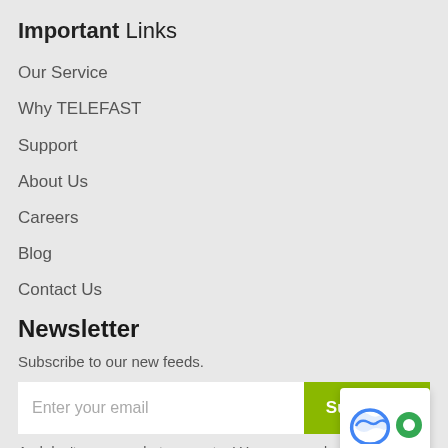Important Links
Our Service
Why TELEFAST
Support
About Us
Careers
Blog
Contact Us
Newsletter
Subscribe to our new feeds.
And don't worry, we hate spam too! You can unsubscribe at